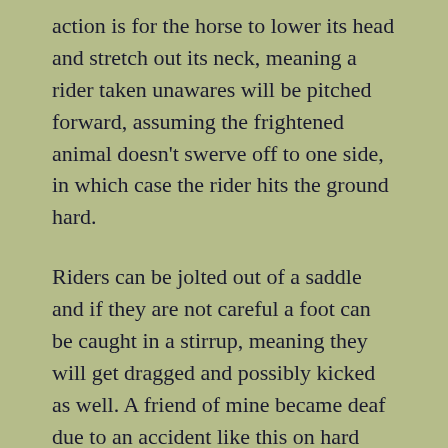action is for the horse to lower its head and stretch out its neck, meaning a rider taken unawares will be pitched forward, assuming the frightened animal doesn't swerve off to one side, in which case the rider hits the ground hard.
Riders can be jolted out of a saddle and if they are not careful a foot can be caught in a stirrup, meaning they will get dragged and possibly kicked as well. A friend of mine became deaf due to an accident like this on hard terrain.
More often, though, with a bolting horse, the rider is pitched forward onto the horse's neck, which sends the creature into an even greater